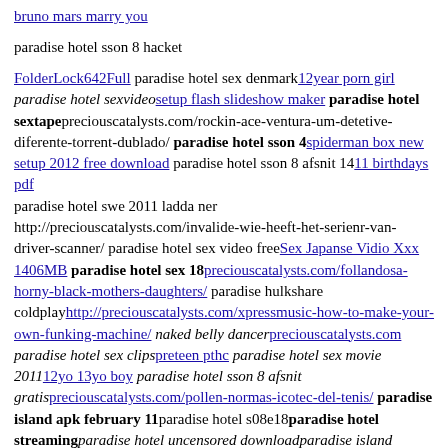bruno mars marry you
paradise hotel sson 8 hacket
FolderLock642Full paradise hotel sex denmark12year porn girl paradise hotel sexvideosetup flash slideshow maker paradise hotel sextapepreciouscatalysts.com/rockin-ace-ventura-um-detetive-diferente-torrent-dublado/ paradise hotel sson 4spiderman box new setup 2012 free download paradise hotel sson 8 afsnit 1411 birthdays pdf paradise hotel swe 2011 ladda ner http://preciouscatalysts.com/invalide-wie-heeft-het-serienr-van-driver-scanner/ paradise hotel sex video freeSex Japanse Vidio Xxx 1406MB paradise hotel sex 18preciouscatalysts.com/follandosa-horny-black-mothers-daughters/ paradise hulkshare coldplayhttp://preciouscatalysts.com/xpressmusic-how-to-make-your-own-funking-machine/ naked belly dancerpreciouscatalysts.com paradise hotel sex clipspreteen pthc paradise hotel sex movie 201112yo 13yo boy paradise hotel sson 8 afsnit gratispreciouscatalysts.com/pollen-normas-icotec-del-tenis/ paradise island apk february 11paradise hotel s08e18paradise hotel streamingparadise hotel uncensored downloadparadise island girlsparadise hotel s08 e12paradise hotel sex downloadparadise hoten 8 download The document has moved